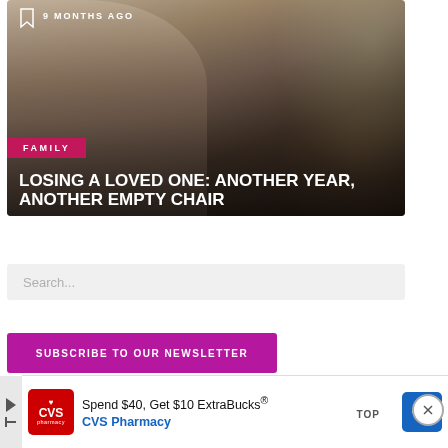[Figure (photo): Elderly woman at holiday dinner table holding a wine glass, with a Christmas tree visible in the background. Overlay text shows bookmark icon, '9 MONTHS AGO', category tag 'FAMILY', and article title.]
LOSING A LOVED ONE: ANOTHER YEAR, ANOTHER EMPTY CHAIR
[Figure (screenshot): Search input bar with placeholder text 'Search...']
Search...
[Figure (other): Pink/magenta subscribe button labeled 'SUBSCRIBE TO OUR NEWSLETTER']
SUBSCRIBE TO OUR NEWSLETTER
[Figure (other): CVS Pharmacy advertisement: 'Spend $40, Get $10 ExtraBucks® CVS Pharmacy' with CVS logo and navigation icon. Also shows 'TOP' button and close (X) button.]
Spend $40, Get $10 ExtraBucks®
CVS Pharmacy